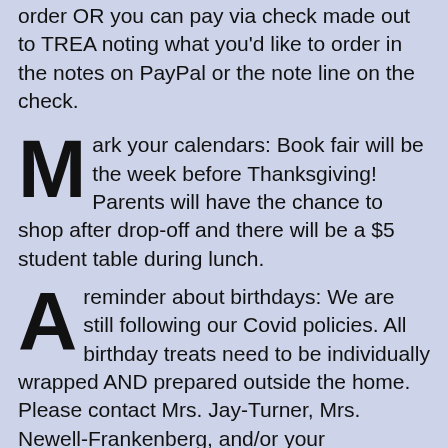order OR you can pay via check made out to TREA noting what you'd like to order in the notes on PayPal or the note line on the check.
Mark your calendars: Book fair will be the week before Thanksgiving! Parents will have the chance to shop after drop-off and there will be a $5 student table during lunch.
A reminder about birthdays: We are still following our Covid policies. All birthday treats need to be individually wrapped AND prepared outside the home. Please contact Mrs. Jay-Turner, Mrs. Newell-Frankenberg, and/or your homeroom teacher before bringing treats. That way we can notify the class, provide you class number totals, and make sure you're aware of dietary restrictions or allergies! It would be